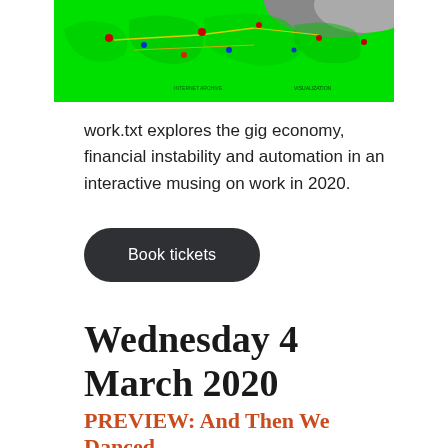[Figure (map): A bright green world map with colored dots and lines overlaid, showing global network or data visualization. The top portion includes a grey/dark area at the upper right.]
work.txt explores the gig economy, financial instability and automation in an interactive musing on work in 2020.
Book tickets
Wednesday 4 March 2020
PREVIEW: And Then We Danced